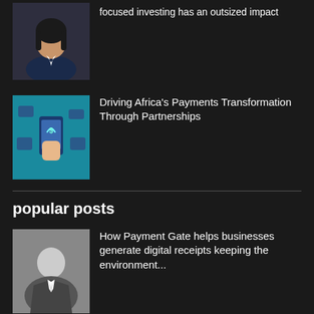[Figure (photo): Woman in dark blazer, professional headshot]
focused investing has an outsized impact
[Figure (illustration): Teal graphic showing mobile payments with hand holding phone, icons of cards and bank]
Driving Africa's Payments Transformation Through Partnerships
popular posts
[Figure (photo): Black and white photo of a man in a suit]
How Payment Gate helps businesses generate digital receipts keeping the environment...
[Figure (photo): Photo of a man in a light shirt]
Momentum Credit Gives a Financial Lifeline to SMEs
[Figure (photo): Co-op Bank branded image]
Co-op Bank ramps up support to SMEs